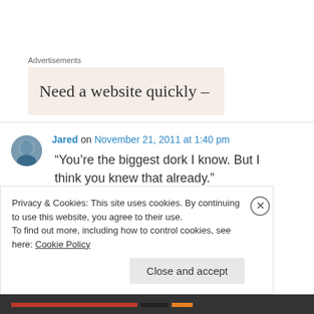Advertisements
[Figure (other): Advertisement banner with beige/cream background showing text 'Need a website quickly –']
Jared on November 21, 2011 at 1:40 pm
“You’re the biggest dork I know. But I think you knew that already.”
Privacy & Cookies: This site uses cookies. By continuing to use this website, you agree to their use.
To find out more, including how to control cookies, see here: Cookie Policy